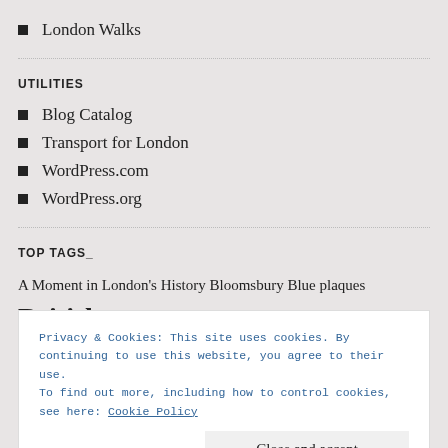London Walks
UTILITIES
Blog Catalog
Transport for London
WordPress.com
WordPress.org
TOP TAGS_
A Moment in London's History Bloomsbury Blue plaques British
Privacy & Cookies: This site uses cookies. By continuing to use this website, you agree to their use.
To find out more, including how to control cookies, see here: Cookie Policy
Close and accept